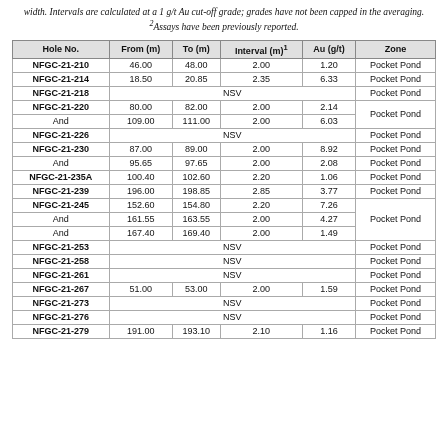width. Intervals are calculated at a 1 g/t Au cut-off grade; grades have not been capped in the averaging. ²Assays have been previously reported.
| Hole No. | From (m) | To (m) | Interval (m)¹ | Au (g/t) | Zone |
| --- | --- | --- | --- | --- | --- |
| NFGC-21-210 | 46.00 | 48.00 | 2.00 | 1.20 | Pocket Pond |
| NFGC-21-214 | 18.50 | 20.85 | 2.35 | 6.33 | Pocket Pond |
| NFGC-21-218 | NSV |  |  |  | Pocket Pond |
| NFGC-21-220 | 80.00 | 82.00 | 2.00 | 2.14 | Pocket Pond |
| And | 109.00 | 111.00 | 2.00 | 6.03 |  |
| NFGC-21-226 | NSV |  |  |  | Pocket Pond |
| NFGC-21-230 | 87.00 | 89.00 | 2.00 | 8.92 | Pocket Pond |
| And | 95.65 | 97.65 | 2.00 | 2.08 | Pocket Pond |
| NFGC-21-235A | 100.40 | 102.60 | 2.20 | 1.06 | Pocket Pond |
| NFGC-21-239 | 196.00 | 198.85 | 2.85 | 3.77 | Pocket Pond |
| NFGC-21-245 | 152.60 | 154.80 | 2.20 | 7.26 | Pocket Pond |
| And | 161.55 | 163.55 | 2.00 | 4.27 |  |
| And | 167.40 | 169.40 | 2.00 | 1.49 |  |
| NFGC-21-253 | NSV |  |  |  | Pocket Pond |
| NFGC-21-258 | NSV |  |  |  | Pocket Pond |
| NFGC-21-261 | NSV |  |  |  | Pocket Pond |
| NFGC-21-267 | 51.00 | 53.00 | 2.00 | 1.59 | Pocket Pond |
| NFGC-21-273 | NSV |  |  |  | Pocket Pond |
| NFGC-21-276 | NSV |  |  |  | Pocket Pond |
| NFGC-21-279 | 191.00 | 193.10 | 2.10 | 1.16 | Pocket Pond |